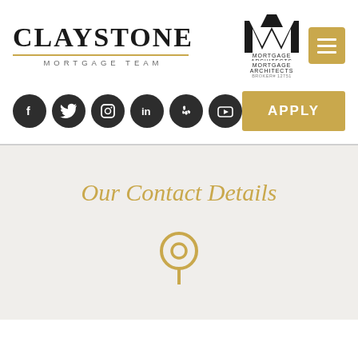[Figure (logo): Claystone Mortgage Team logo with serif text, gold horizontal line, and 'MORTGAGE TEAM' in spaced caps below]
[Figure (logo): Mortgage Architects logo with 'MA' triangle mark and company name below]
[Figure (other): Gold hamburger menu button]
[Figure (other): Row of six social media icon buttons: Facebook, Twitter, Instagram, LinkedIn, Yelp, YouTube — dark circular icons]
[Figure (other): Gold APPLY button]
Our Contact Details
[Figure (other): Gold location/map pin icon, partially visible at bottom]